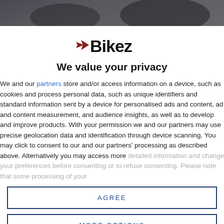[Figure (photo): Dark background image showing a motorcycle or rider, partially visible at the top of the page]
[Figure (logo): Bikez logo with stylized arrow and bold text in black and dark red]
We value your privacy
We and our partners store and/or access information on a device, such as cookies and process personal data, such as unique identifiers and standard information sent by a device for personalised ads and content, ad and content measurement, and audience insights, as well as to develop and improve products. With your permission we and our partners may use precise geolocation data and identification through device scanning. You may click to consent to our and our partners' processing as described above. Alternatively you may access more detailed information and change your preferences before consenting or to refuse consenting. Please note that some processing of your
AGREE
MORE OPTIONS